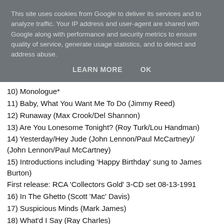This site uses cookies from Google to deliver its services and to analyze traffic. Your IP address and user-agent are shared with Google along with performance and security metrics to ensure quality of service, generate usage statistics, and to detect and address abuse.
LEARN MORE   OK
10) Monologue*
11) Baby, What You Want Me To Do (Jimmy Reed)
12) Runaway (Max Crook/Del Shannon)
13) Are You Lonesome Tonight? (Roy Turk/Lou Handman)
14) Yesterday/Hey Jude (John Lennon/Paul McCartney)/ (John Lennon/Paul McCartney)
15) Introductions including 'Happy Birthday' sung to James Burton)
First release: RCA 'Collectors Gold' 3-CD set 08-13-1991
16) In The Ghetto (Scott 'Mac' Davis)
17) Suspicious Minds (Mark James)
18) What'd I Say (Ray Charles)
19) Can't Help Falling In Love (Hugo Peretti/Luigi Creatore/George Weiss)